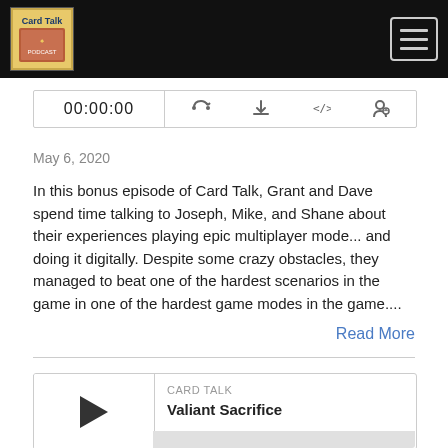Card Talk — navigation header with logo and menu button
[Figure (screenshot): Audio player bar showing 00:00:00 timestamp and icons for RSS, download, embed, and accessibility]
May 6, 2020
In this bonus episode of Card Talk, Grant and Dave spend time talking to Joseph, Mike, and Shane about their experiences playing epic multiplayer mode... and doing it digitally. Despite some crazy obstacles, they managed to beat one of the hardest scenarios in the game in one of the hardest game modes in the game....
Read More
Valiant Sacrifice
[Figure (screenshot): Podcast player card showing play button, CARD TALK label, and Valiant Sacrifice title]